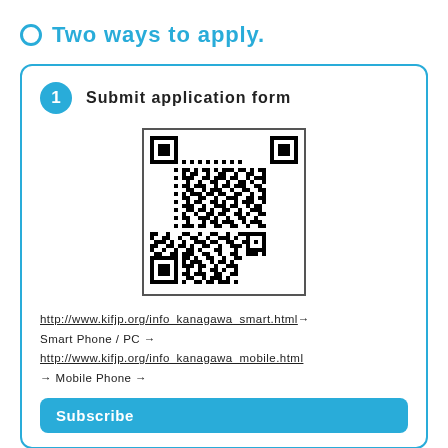Two ways to apply.
1  Submit application form
[Figure (other): QR code linking to application form URLs for Smart Phone/PC and Mobile Phone]
http://www.kifjp.org/info_kanagawa_smart.html → Smart Phone / PC → http://www.kifjp.org/info_kanagawa_mobile.html → Mobile Phone →
Subscribe